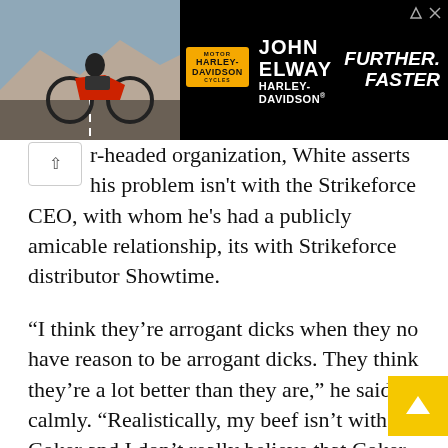[Figure (photo): John Elway Harley-Davidson advertisement banner showing a motorcycle rider on a road, Harley-Davidson logo, text 'John Elway Harley-Davidson' and 'FURTHER. FASTER']
r-headed organization, White asserts his problem isn't with the Strikeforce CEO, with whom he's had a publicly amicable relationship, its with Strikeforce distributor Showtime.
“I think they’re arrogant dicks when they no have reason to be arrogant dicks. They think they’re a lot better than they are,” he said calmly. “Realistically, my beef isn’t with Coker and I don’t really believe that Coker really is running Strikeforce, Showtime is.”
White affirms there’s a lot of work to do in the still young sport and building the heavyweight